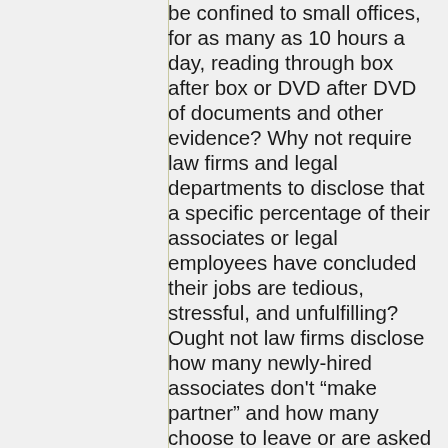be confined to small offices, for as many as 10 hours a day, reading through box after box or DVD after DVD of documents and other evidence? Why not require law firms and legal departments to disclose that a specific percentage of their associates or legal employees have concluded their jobs are tedious, stressful, and unfulfilling? Ought not law firms disclose how many newly-hired associates don’t “make partner” and how many choose to leave or are asked to leave after one or two years with the firm? Might not this sort of information cause potential law students to think again about their career decisions? Perhaps law firms ought to be required to explain why some law graduates are offered salaries that are four or five times those offered to other graduates even though all those graduates share a common characteristic, namely, little or no experience. Perhaps someone should explain why there are so many people in need of legal assistance and yet so many lawyers unable to find jobs? Perhaps someone should explain why the connection between those needing legal assistance and the lawyers who could provide